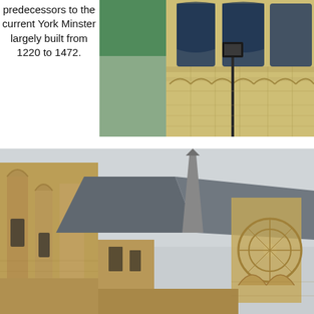predecessors to the current York Minster largely built from 1220 to 1472.
[Figure (photo): Close-up photograph of York Minster exterior showing Gothic stone arches, large stained glass windows, and a street lamp in the foreground, with scaffolding visible at the top left.]
[Figure (photo): Wide-angle photograph of York Minster exterior showing Gothic architectural details including flying buttresses, pointed spires, and large rose window, against an overcast sky.]